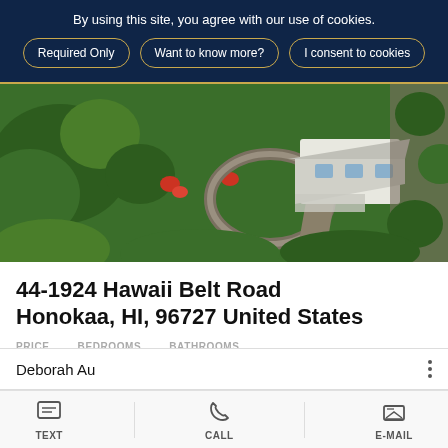By using this site, you agree with our use of cookies.
Required Only | Want to know more? | I consent to cookies
[Figure (photo): Aerial drone photograph of a single-family home with white/grey roof surrounded by lush tropical greenery, circular driveway, on Hawaii Big Island]
44-1924 Hawaii Belt Road Honokaa, HI, 96727 United States
PRICE   BEDROOMS   BATHROOMS
Deborah Au
TEXT   CALL   E-MAIL